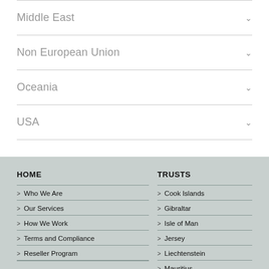Middle East
Non European Union
Oceania
USA
HOME
Who We Are
Our Services
How We Work
Terms and Compliance
Reseller Program
TRUSTS
Cook Islands
Gibraltar
Isle of Man
Jersey
Liechtenstein
Mauritius
Nevis